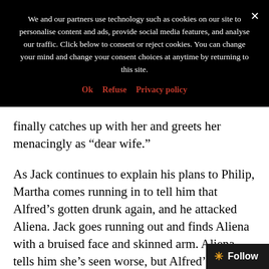We and our partners use technology such as cookies on our site to personalise content and ads, provide social media features, and analyse our traffic. Click below to consent or reject cookies. You can change your mind and change your consent choices at anytime by returning to this site.
Ok   Refuse   Privacy policy
finally catches up with her and greets her menacingly as “dear wife.”
As Jack continues to explain his plans to Philip, Martha comes running in to tell him that Alfred’s gotten drunk again, and he attacked Aliena. Jack goes running out and finds Aliena with a bruised face and skinned arm. Aliena tells him she’s seen worse, but Alfred’s just pressed Jack’s Berserk Button hard, and he runs off, yelling for Alfred. He finally catches up with him, and they start to tussle, trashing the marketplace a bit, and then Alfred gets Jack down on the ground, stealthily draws t